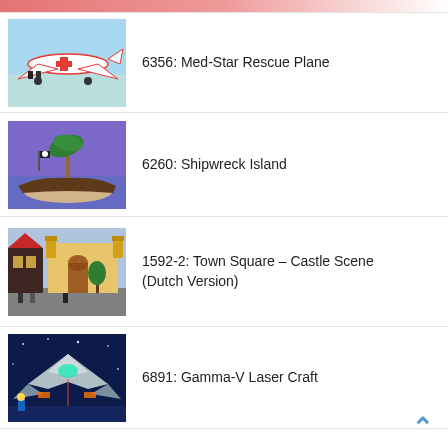[Figure (photo): Partial top of a LEGO set box image (cropped)]
6356: Med-Star Rescue Plane
6260: Shipwreck Island
1592-2: Town Square – Castle Scene (Dutch Version)
6891: Gamma-V Laser Craft